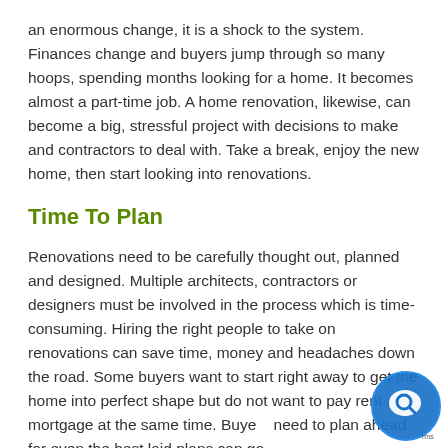an enormous change, it is a shock to the system. Finances change and buyers jump through so many hoops, spending months looking for a home. It becomes almost a part-time job. A home renovation, likewise, can become a big, stressful project with decisions to make and contractors to deal with. Take a break, enjoy the new home, then start looking into renovations.
Time To Plan
Renovations need to be carefully thought out, planned and designed. Multiple architects, contractors or designers must be involved in the process which is time-consuming. Hiring the right people to take on renovations can save time, money and headaches down the road. Some buyers want to start right away to get the home into perfect shape but do not want to pay rent and mortgage at the same time. Buye need to plan ahead for even the best laid plans can go
[Figure (other): Chat widget button — circular blue icon with speech bubble and magnifying glass symbol, partially overlapping the text content in the bottom-right corner.]